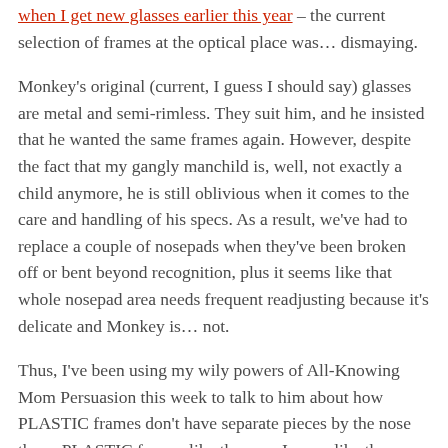when I get new glasses earlier this year – the current selection of frames at the optical place was… dismaying.
Monkey's original (current, I guess I should say) glasses are metal and semi-rimless. They suit him, and he insisted that he wanted the same frames again. However, despite the fact that my gangly manchild is, well, not exactly a child anymore, he is still oblivious when it comes to the care and handling of his specs. As a result, we've had to replace a couple of nosepads when they've been broken off or bent beyond recognition, plus it seems like that whole nosepad area needs frequent readjusting because it's delicate and Monkey is… not.
Thus, I've been using my wily powers of All-Knowing Mom Persuasion this week to talk to him about how PLASTIC frames don't have separate pieces by the nose there. PLASTIC frames like the ones I wear, like the ones his sister wears, why, they're practically indestructible. And SO COMFORTABLE! Nosepads are for losers! (I only said that to myself, not out loud, of course, but still.)